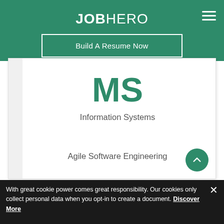JOBHERO
Build A Resume Now
MS
Information Systems
Agile Software Engineering
Geography / Geoscience
With great cookie power comes great responsibility. Our cookies only collect personal data when you opt-in to create a document. Discover More